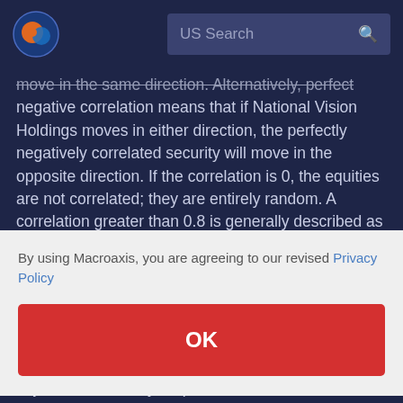US Search
move in the same direction. Alternatively, perfect negative correlation means that if National Vision Holdings moves in either direction, the perfectly negatively correlated security will move in the opposite direction. If the correlation is 0, the equities are not correlated; they are entirely random. A correlation greater than 0.8 is generally described as
By using Macroaxis, you are agreeing to our revised Privacy Policy
OK
risk-adjusted return on your portfolios.